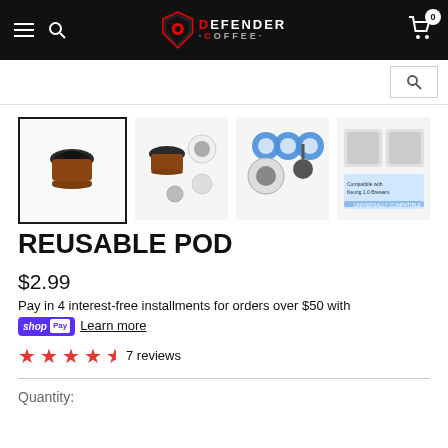Defender Coffee - navigation header with logo, hamburger menu, search, and cart
[Figure (screenshot): Product thumbnail images of reusable coffee pod - main selected image with border, and three additional thumbnail images showing parts diagram and compatibility info]
REUSABLE POD
$2.99
Pay in 4 interest-free installments for orders over $50 with shop Pay Learn more
★★★★☆ 7 reviews
Quantity: